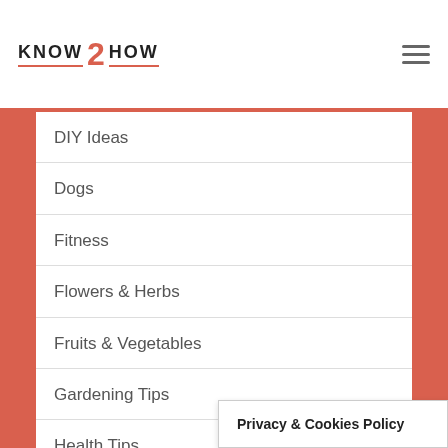KNOW 2 HOW
DIY Ideas
Dogs
Fitness
Flowers & Herbs
Fruits & Vegetables
Gardening Tips
Health Tips
House Plants
INTERESTING
Interesting Stories
Privacy & Cookies Policy